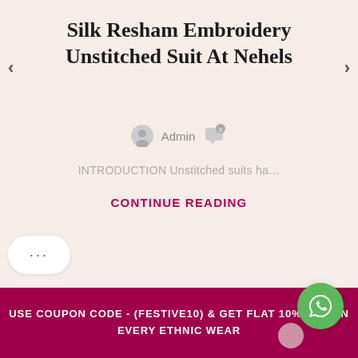Silk Resham Embroidery Unstitched Suit At Nehels
Admin
INTRODUCTION Unstitched suits ha…
CONTINUE READING
...
USE COUPON CODE - (FESTIVE10) & GET FLAT 10% OFF ON EVERY ETHNIC WEAR